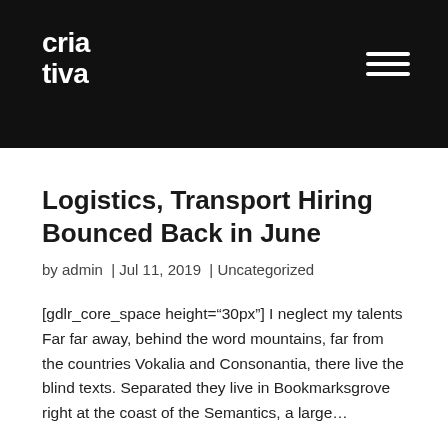cria tiva
Logistics, Transport Hiring Bounced Back in June
by admin | Jul 11, 2019 | Uncategorized
[gdlr_core_space height="30px"] I neglect my talents Far far away, behind the word mountains, far from the countries Vokalia and Consonantia, there live the blind texts. Separated they live in Bookmarksgrove right at the coast of the Semantics, a large...